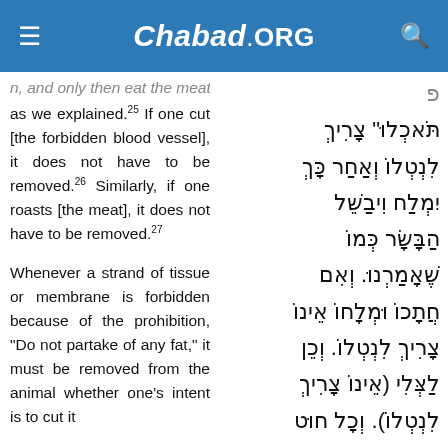Chabad.ORG
n, and only then eat the meat as we explained.25 If one cut [the forbidden blood vessel], it does not have to be removed.26 Similarly, if one roasts [the meat], it does not have to be removed.27

Whenever a strand of tissue or membrane is forbidden because of the prohibition, "Do not partake of any fat," it must be removed from the animal whether one's intent is to cut it
תֹּאכְלוּ" צָרִיךְ לִנְטְלוֹ וְאַחַר כָּךְ יִמְלַח וִיבַשֵּׁל הַבָּשָׂר כְּמוֹ שֶׁאָמַרְנוּ. וְאִם חֲתָכוֹ וּמְלָחוֹ אֵינוֹ צָרִיךְ לִנְטְלוֹ. וְכֵן לַצְּלִי (אֵינוֹ צָרִיךְ לִנְטְלוֹ). וְכָל חוּט